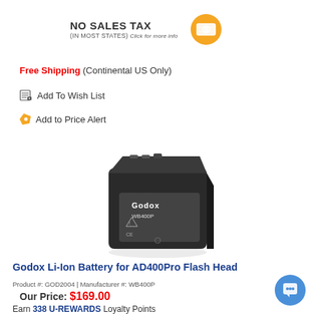NO SALES TAX (IN MOST STATES) Click for more info
Free Shipping (Continental US Only)
Add To Wish List
Add to Price Alert
[Figure (photo): Godox WB400P Li-Ion battery pack, black rectangular unit with beveled top edge and white label showing Godox logo and model number]
Godox Li-Ion Battery for AD400Pro Flash Head
Product #: GOD2004 | Manufacturer #: WB400P
Our Price: $169.00
Earn 338 U-REWARDS Loyalty Points